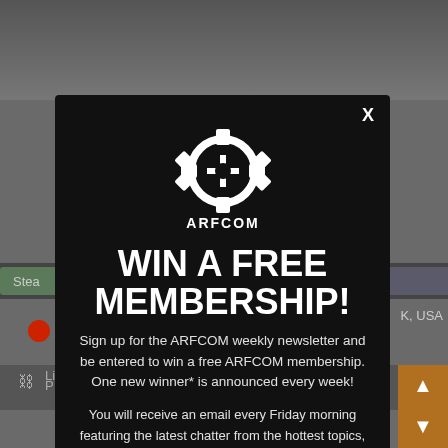[Figure (screenshot): Background screenshot of a webpage with UI elements visible behind a modal popup]
[Figure (infographic): ARFCOM modal popup with gear/logo, 'WIN A FREE MEMBERSHIP!' heading, newsletter signup text, and an email input field at the bottom]
WIN A FREE MEMBERSHIP!
Sign up for the ARFCOM weekly newsletter and be entered to win a free ARFCOM membership. One new winner* is announced every week!
You will receive an email every Friday morning featuring the latest chatter from the hottest topics, breaking news surrounding legislation, as well as exclusive deals only available to ARFCOM email subscribers.